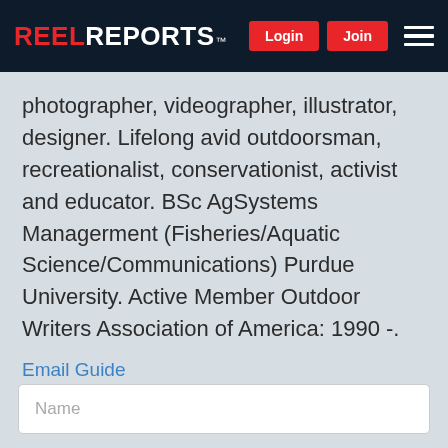REEL REPORTS™  Login  Join
photographer, videographer, illustrator, designer. Lifelong avid outdoorsman, recreationalist, conservationist, activist and educator. BSc AgSystems Managerment (Fisheries/Aquatic Science/Communications) Purdue University. Active Member Outdoor Writers Association of America: 1990 -.
Email Guide